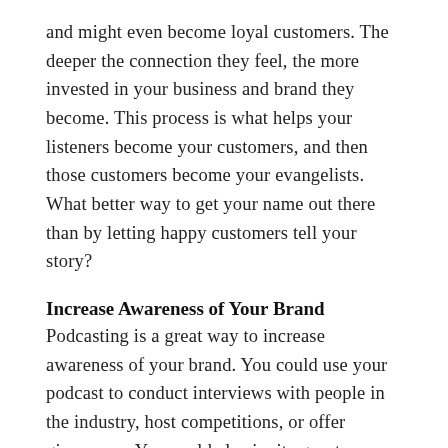and might even become loyal customers. The deeper the connection they feel, the more invested in your business and brand they become. This process is what helps your listeners become your customers, and then those customers become your evangelists. What better way to get your name out there than by letting happy customers tell your story?
Increase Awareness of Your Brand
Podcasting is a great way to increase awareness of your brand. You could use your podcast to conduct interviews with people in the industry, host competitions, or offer giveaways. You could also invite guests on your show, which could include industry experts, celebrities or people who have been successful with your products or services.